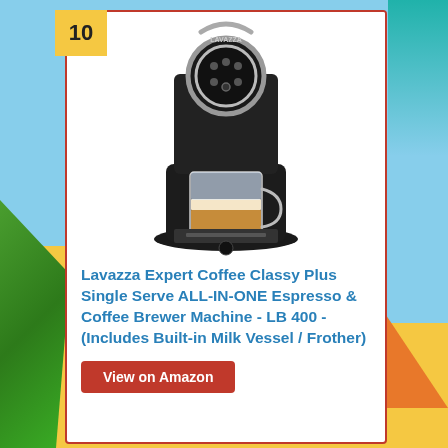10
[Figure (photo): Lavazza Expert Coffee Classy Plus single serve espresso and coffee brewer machine (LB 400) with a latte glass cup, black design with chrome circular control panel on top]
Lavazza Expert Coffee Classy Plus Single Serve ALL-IN-ONE Espresso & Coffee Brewer Machine - LB 400 - (Includes Built-in Milk Vessel / Frother)
View on Amazon